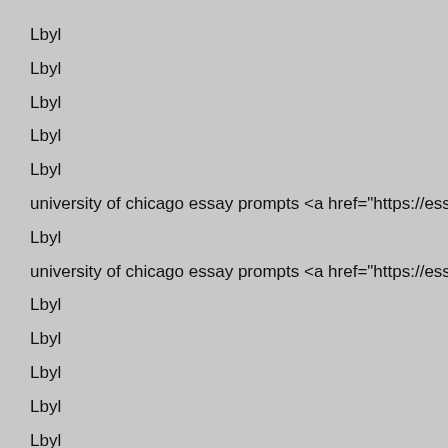Lbyl
Lbyl
Lbyl
Lbyl
Lbyl
university of chicago essay prompts <a href="https://essaymeshing.
Lbyl
university of chicago essay prompts <a href="https://essaymeshing.
Lbyl
Lbyl
Lbyl
Lbyl
Lbyl